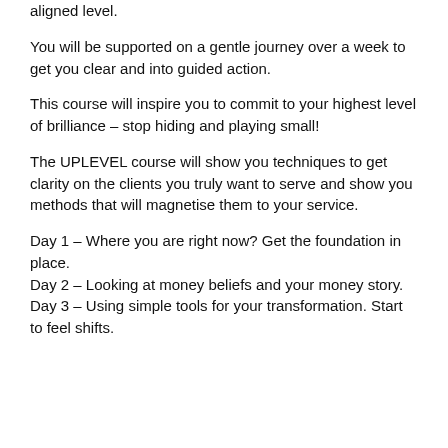aligned level.
You will be supported on a gentle journey over a week to get you clear and into guided action.
This course will inspire you to commit to your highest level of brilliance – stop hiding and playing small!
The UPLEVEL course will show you techniques to get clarity on the clients you truly want to serve and show you methods that will magnetise them to your service.
Day 1 – Where you are right now? Get the foundation in place.
Day 2 – Looking at money beliefs and your money story.
Day 3 – Using simple tools for your transformation. Start to feel shifts.